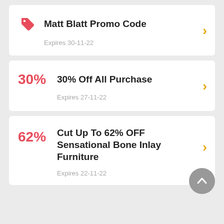Matt Blatt Promo Code
Expires 30-11-22
30% Off All Purchase
Expires 27-11-22
Cut Up To 62% OFF Sensational Bone Inlay Furniture
Expires 22-11-22